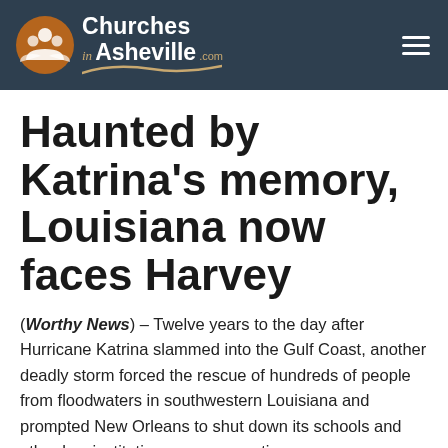Churches in Asheville.com
Haunted by Katrina's memory, Louisiana now faces Harvey
(Worthy News) – Twelve years to the day after Hurricane Katrina slammed into the Gulf Coast, another deadly storm forced the rescue of hundreds of people from floodwaters in southwestern Louisiana and prompted New Orleans to shut down its schools and other key institutions as a precaution.
Tropical Storm Harvey flooded neighbourhoods overnight with chest-deep water in the Lake Charles area, near the